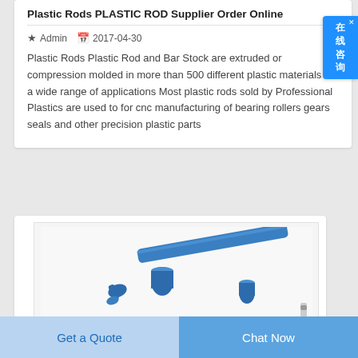Plastic Rods PLASTIC ROD Supplier Order Online
Admin   2017-04-30
Plastic Rods Plastic Rod and Bar Stock are extruded or compression molded in more than 500 different plastic materials for a wide range of applications Most plastic rods sold by Professional Plastics are used to for cnc manufacturing of bearing rollers gears seals and other precision plastic parts
[Figure (photo): Blue plastic rod components and machined parts including rods, cylindrical pieces, and precision parts shown on a white background]
Get a Quote
Chat Now